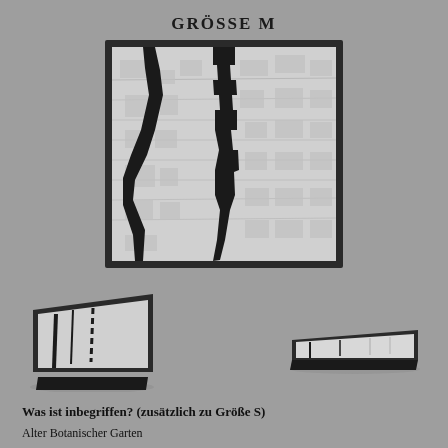GRÖSSE M
[Figure (map): Top-down aerial map view showing city streets and blocks in black and white, framed with a dark border, flat view]
[Figure (map): 3D perspective tilted view of the same city map, smaller, dark-framed, angled left side]
[Figure (map): 3D perspective tilted view of the same city map, smaller, dark-framed, angled right side, very flat]
Was ist inbegriffen? (zusätzlich zu Größe S)
Alter Botanischer Garten